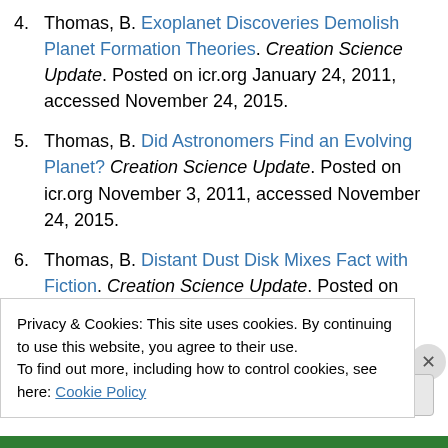4. Thomas, B. Exoplanet Discoveries Demolish Planet Formation Theories. Creation Science Update. Posted on icr.org January 24, 2011, accessed November 24, 2015.
5. Thomas, B. Did Astronomers Find an Evolving Planet? Creation Science Update. Posted on icr.org November 3, 2011, accessed November 24, 2015.
6. Thomas, B. Distant Dust Disk Mixes Fact with Fiction. Creation Science Update. Posted on icr.org June 21, 2013, accessed November 24, 2015.
7. Lisle, J. 2012. Blue Stars Confirm Recent Creation.
Privacy & Cookies: This site uses cookies. By continuing to use this website, you agree to their use. To find out more, including how to control cookies, see here: Cookie Policy